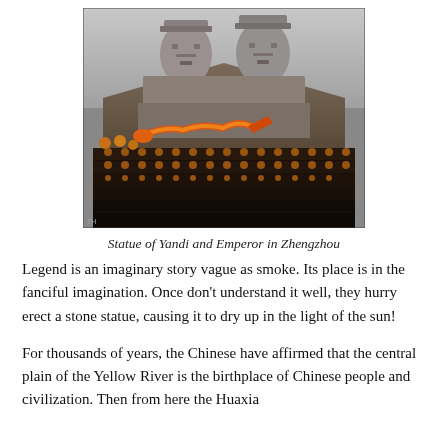[Figure (photo): Large stone statues of Yandi and Huangdi (Yellow Emperor) carved into a hillside in Zhengzhou, with a colorful dragon parade and rows of performers in traditional costumes below.]
Statue of Yandi and Emperor in Zhengzhou
Legend is an imaginary story vague as smoke. Its place is in the fanciful imagination. Once don't understand it well, they hurry erect a stone statue, causing it to dry up in the light of the sun!
For thousands of years, the Chinese have affirmed that the central plain of the Yellow River is the birthplace of Chinese people and civilization. Then from here the Huaxia